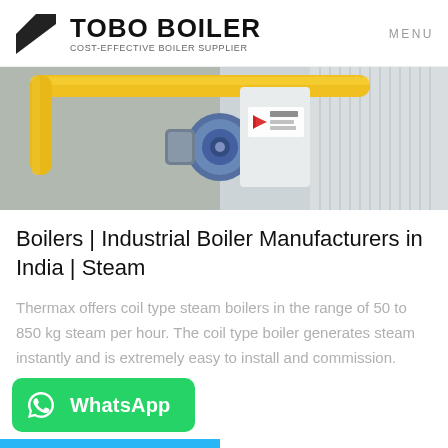TOBO BOILER — COST-EFFECTIVE BOILER SUPPLIER | MENU
[Figure (photo): Industrial boiler equipment photo showing yellow pipes, a circular motor/burner component, and a white industrial unit with Chinese branding (方快锅炉) and a red logo mark on the front panel.]
Boilers | Industrial Boiler Manufacturers in India | Steam
Thermax offers coil type steam boilers in the range of 50 to 850 kg steam per hour. The coil type boiler generates steam instantly and is extremely easy to install and commission. These boilers are safe, reliable and design…
[Figure (logo): WhatsApp button — green rounded rectangle with WhatsApp phone icon and text 'WhatsApp']